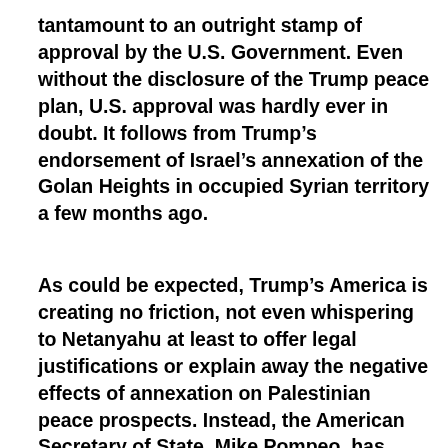tantamount to an outright stamp of approval by the U.S. Government. Even without the disclosure of the Trump peace plan, U.S. approval was hardly ever in doubt. It follows from Trump's endorsement of Israel's annexation of the Golan Heights in occupied Syrian territory a few months ago.
As could be expected, Trump's America is creating no friction, not even whispering to Netanyahu at least to offer legal justifications or explain away the negative effects of annexation on Palestinian peace prospects. Instead, the American Secretary of State, Mike Pompeo, has given a green light to West Bank annexation even before Israel formalized its claim, declaring provocatively that annexation is a matter for